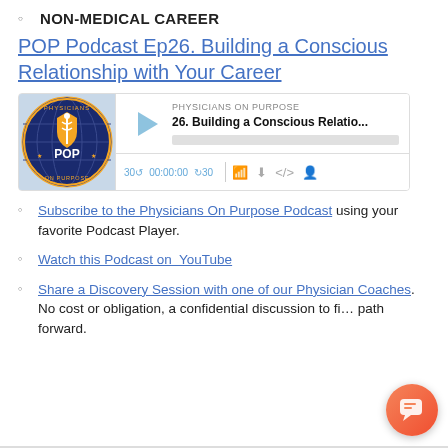NON-MEDICAL CAREER
POP Podcast Ep26. Building a Conscious Relationship with Your Career
[Figure (screenshot): Podcast player widget for Physicians On Purpose episode 26: Building a Conscious Relatio...]
Subscribe to the Physicians On Purpose Podcast using your favorite Podcast Player.
Watch this Podcast on  YouTube
Share a Discovery Session with one of our Physician Coaches. No cost or obligation, a confidential discussion to fi... path forward.